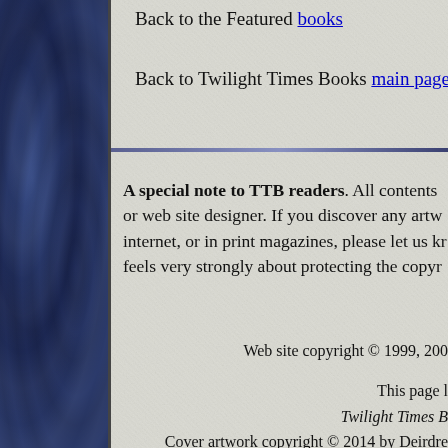Back to the Featured books
Back to Twilight Times Books main page
A special note to TTB readers. All contents or web site designer. If you discover any artw internet, or in print magazines, please let us kr feels very strongly about protecting the copyr
Web site copyright © 1999, 200
This page l
Twilight Times B
Cover artwork copyright © 2014 by Deirdre